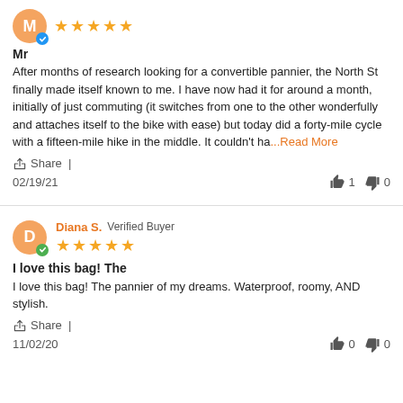[Figure (other): Reviewer avatar circle with letter M and blue verified badge, followed by 5 orange stars]
Mr
After months of research looking for a convertible pannier, the North St finally made itself known to me. I have now had it for around a month, initially of just commuting (it switches from one to the other wonderfully and attaches itself to the bike with ease) but today did a forty-mile cycle with a fifteen-mile hike in the middle. It couldn't ha...Read More
Share |
02/19/21
1
0
[Figure (other): Reviewer avatar circle with letter D and green verified badge]
Diana S. Verified Buyer
[Figure (other): 5 orange stars rating]
I love this bag! The
I love this bag! The pannier of my dreams. Waterproof, roomy, AND stylish.
Share |
11/02/20
0
0